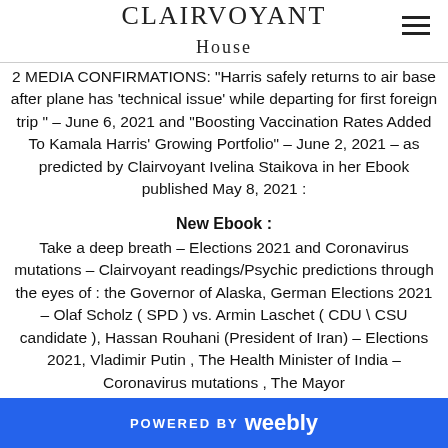CLAIRVOYANT HOUSE
2 MEDIA CONFIRMATIONS: "Harris safely returns to air base after plane has 'technical issue' while departing for first foreign trip " – June 6, 2021 and "Boosting Vaccination Rates Added To Kamala Harris' Growing Portfolio" – June 2, 2021 – as predicted by Clairvoyant Ivelina Staikova in her Ebook published May 8, 2021 :
New Ebook :
Take a deep breath – Elections 2021 and Coronavirus mutations – Clairvoyant readings/Psychic predictions through the eyes of : the Governor of Alaska, German Elections 2021 – Olaf Scholz ( SPD ) vs. Armin Laschet ( CDU \ CSU candidate ), Hassan Rouhani (President of Iran) – Elections 2021, Vladimir Putin , The Health Minister of India – Coronavirus mutations , The Mayor
POWERED BY weebly